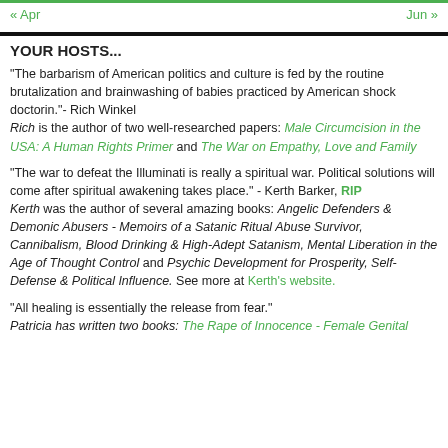« Apr   Jun »
YOUR HOSTS...
"The barbarism of American politics and culture is fed by the routine brutalization and brainwashing of babies practiced by American shock doctorin."- Rich Winkel
Rich is the author of two well-researched papers: Male Circumcision in the USA: A Human Rights Primer and The War on Empathy, Love and Family
"The war to defeat the Illuminati is really a spiritual war. Political solutions will come after spiritual awakening takes place." - Kerth Barker, RIP
Kerth was the author of several amazing books: Angelic Defenders & Demonic Abusers - Memoirs of a Satanic Ritual Abuse Survivor, Cannibalism, Blood Drinking & High-Adept Satanism, Mental Liberation in the Age of Thought Control and Psychic Development for Prosperity, Self-Defense & Political Influence. See more at Kerth's website.
"All healing is essentially the release from fear."
Patricia has written two books: The Rape of Innocence - Female Genital...